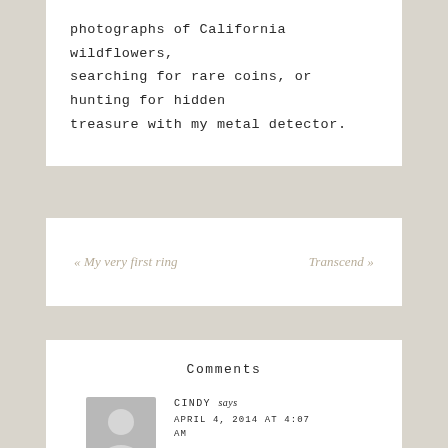photographs of California wildflowers, searching for rare coins, or hunting for hidden treasure with my metal detector.
« My very first ring    Transcend »
Comments
CINDY says
APRIL 4, 2014 AT 4:07 AM